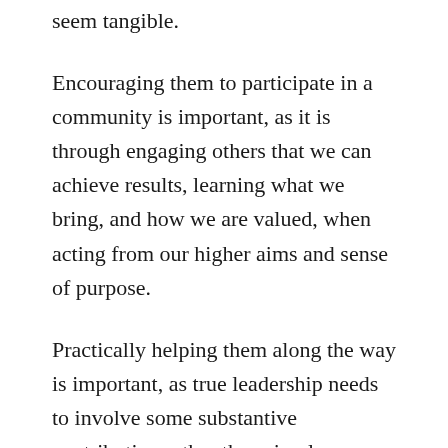seem tangible.
Encouraging them to participate in a community is important, as it is through engaging others that we can achieve results, learning what we bring, and how we are valued, when acting from our higher aims and sense of purpose.
Practically helping them along the way is important, as true leadership needs to involve some substantive contribution rather than simply exhortation and advice. Introducing people to people, providing them with new responsibilities or opportunities for experiences and training, and defending them when they stumble while advising them on what to do as